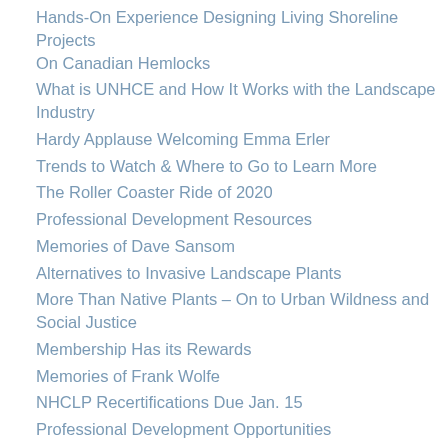Hands-On Experience Designing Living Shoreline Projects On Canadian Hemlocks
What is UNHCE and How It Works with the Landscape Industry
Hardy Applause Welcoming Emma Erler
Trends to Watch & Where to Go to Learn More
The Roller Coaster Ride of 2020
Professional Development Resources
Memories of Dave Sansom
Alternatives to Invasive Landscape Plants
More Than Native Plants – On to Urban Wildness and Social Justice
Membership Has its Rewards
Memories of Frank Wolfe
NHCLP Recertifications Due Jan. 15
Professional Development Opportunities
Survey Says…
Landscape Industry Booming Despite Pandemic
A Sidenote
In Memoriam: Peter S. Kidd